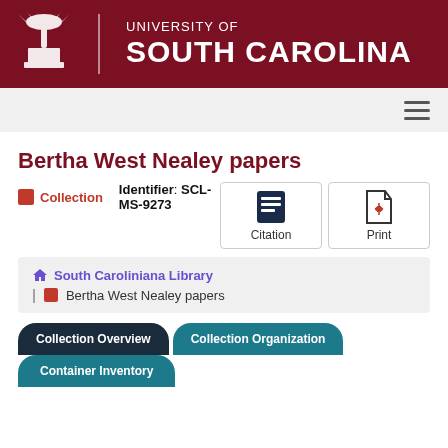[Figure (logo): University of South Carolina logo with crest and text on dark red background]
Bertha West Nealey papers
Collection   Identifier: SCL-MS-9273
Citation   Print
South Caroliniana Library | Bertha West Nealey papers
Collection Overview   Collection Organization
Container Inventory